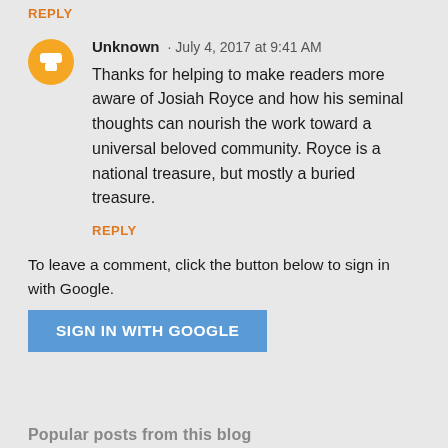REPLY
Unknown · July 4, 2017 at 9:41 AM
Thanks for helping to make readers more aware of Josiah Royce and how his seminal thoughts can nourish the work toward a universal beloved community. Royce is a national treasure, but mostly a buried treasure.
REPLY
To leave a comment, click the button below to sign in with Google.
SIGN IN WITH GOOGLE
Popular posts from this blog